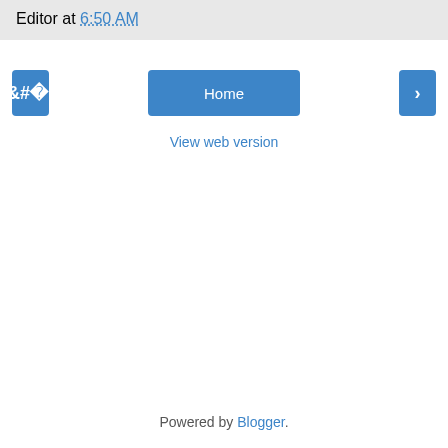Editor at 6:50 AM
< Home >
View web version
Powered by Blogger.